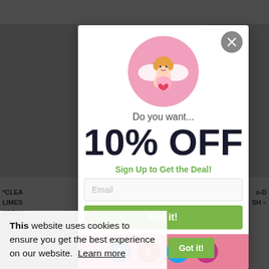[Figure (screenshot): Website popup modal offering 10% off discount with angel icon, email signup field, and social media icons. Background shows a blurred e-commerce product page. A cookie consent banner is partially visible at the bottom left.]
*CLEA... LIMES... SPRAY... £2.79
Do you want...
10% OFF
Sign Up to Get the Deal!
Email
Got it!
This website uses cookies to ensure you get the best experience on our website. Learn more